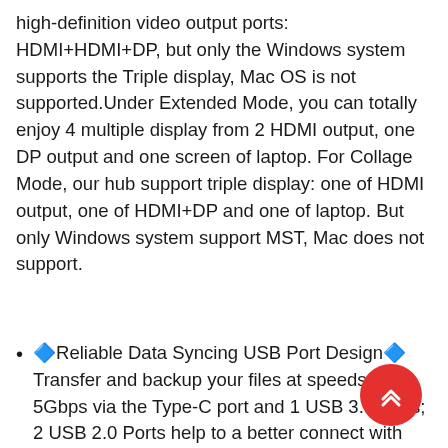high-definition video output ports: HDMI+HDMI+DP, but only the Windows system supports the Triple display, Mac OS is not supported.Under Extended Mode, you can totally enjoy 4 multiple display from 2 HDMI output, one DP output and one screen of laptop. For Collage Mode, our hub support triple display: one of HDMI output, one of HDMI+DP and one of laptop. But only Windows system support MST, Mac does not support.
🔷Reliable Data Syncing USB Port Design🔷 Transfer and backup your files at speeds up to 5Gbps via the Type-C port and 1 USB 3.0 ports; 2 USB 2.0 Ports help to a better connect with the wireless mouse and keyboard. Built in